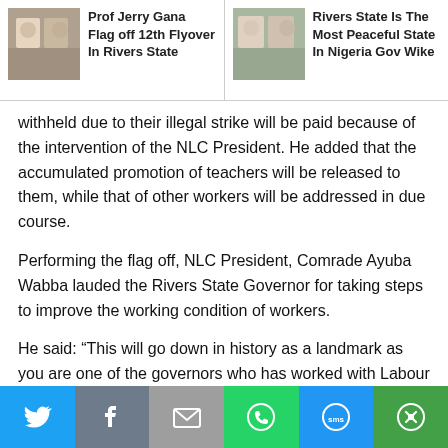Prof Jerry Gana Flag off 12th Flyover In Rivers State | Rivers State Is The Most Peaceful State In Nigeria Gov Wike
withheld due to their illegal strike will be paid because of the intervention of the NLC President. He added that the accumulated promotion of teachers will be released to them, while that of other workers will be addressed in due course.
Performing the flag off, NLC President, Comrade Ayuba Wabba lauded the Rivers State Governor for taking steps to improve the working condition of workers.
He said: “This will go down in history as a landmark as you are one of the governors who has worked with Labour for a better society”.
He said that the partnership between labour and the Rivers State Government will lead to faster development in Rivers State.
[Figure (infographic): Social share bar with Twitter, Facebook, Email, WhatsApp, SMS, and More buttons]